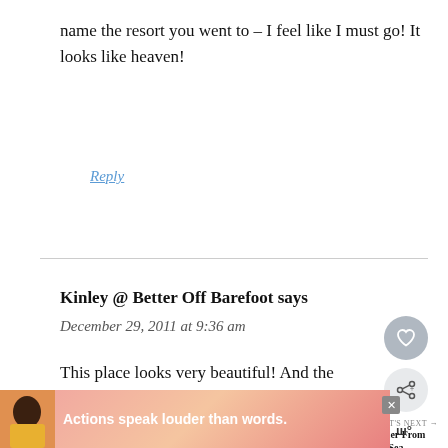name the resort you went to – I feel like I must go! It looks like heaven!
Reply
Kinley @ Better Off Barefoot says
December 29, 2011 at 9:36 am
This place looks very beautiful! And the colors are just someting different t what I've seen even on beaches in the US!
[Figure (screenshot): Advertisement banner: person in yellow shirt, text 'Actions speak louder than words.']